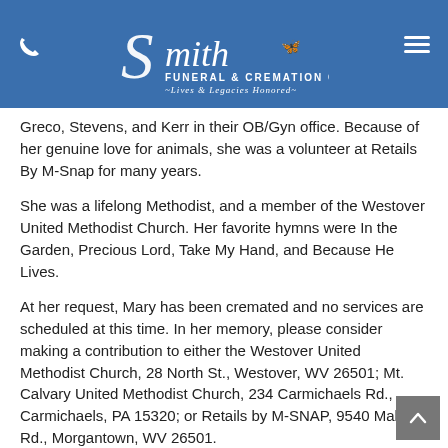[Figure (logo): Smith Funeral & Cremation Care logo with stylized S, butterfly, text 'Lives & Legacies Honored' on blue header bar]
Greco, Stevens, and Kerr in their OB/Gyn office. Because of her genuine love for animals, she was a volunteer at Retails By M-Snap for many years.
She was a lifelong Methodist, and a member of the Westover United Methodist Church. Her favorite hymns were In the Garden, Precious Lord, Take My Hand, and Because He Lives.
At her request, Mary has been cremated and no services are scheduled at this time. In her memory, please consider making a contribution to either the Westover United Methodist Church, 28 North St., Westover, WV 26501; Mt. Calvary United Methodist Church, 234 Carmichaels Rd., Carmichaels, PA 15320; or Retails by M-SNAP, 9540 Mall Rd., Morgantown, WV 26501.
Smith Funeral & Cremation Care of Westover / Morgantown, is providing care and guidance to the family.